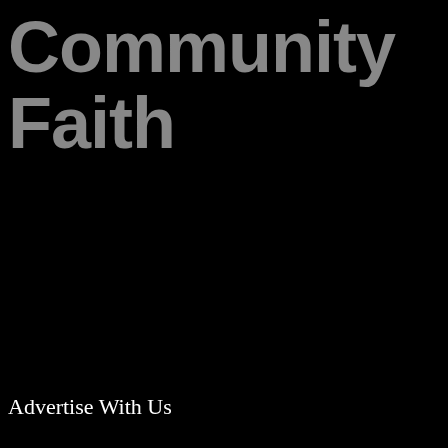Community Faith
Advertise With Us